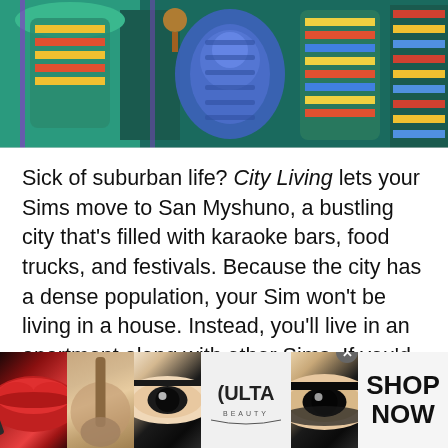[Figure (photo): Colorful animated scene from The Sims City Living expansion pack showing vibrant furniture including chairs and a decorative lamp in teal, yellow, red, and blue colors]
Sick of suburban life? City Living lets your Sims move to San Myshuno, a bustling city that's filled with karaoke bars, food trucks, and festivals. Because the city has a dense population, your Sim won't be living in a house. Instead, you'll live in an apartment along with other Sims. If you'd prefer your own place, you can opt to live in a spacious penthouse instead. Unfortunately, players can't build their own apartment buildings, but individual apartments can be decorated and customized.
[Figure (photo): Ulta Beauty advertisement banner showing makeup-related photos including lips with lipstick and brush, eye close-up, Ulta Beauty logo, smoky eye, and a SHOP NOW call to action]